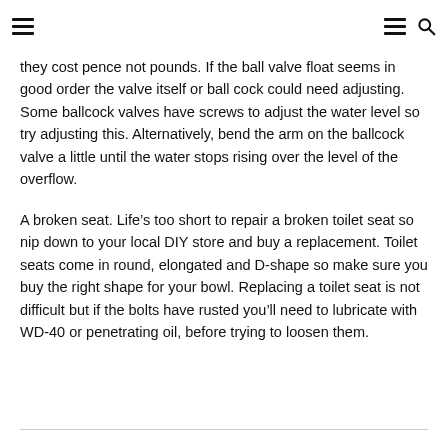[hamburger menu icons and search icon]
they cost pence not pounds. If the ball valve float seems in good order the valve itself or ball cock could need adjusting. Some ballcock valves have screws to adjust the water level so try adjusting this. Alternatively, bend the arm on the ballcock valve a little until the water stops rising over the level of the overflow.
A broken seat. Life’s too short to repair a broken toilet seat so nip down to your local DIY store and buy a replacement. Toilet seats come in round, elongated and D-shape so make sure you buy the right shape for your bowl. Replacing a toilet seat is not difficult but if the bolts have rusted you’ll need to lubricate with WD-40 or penetrating oil, before trying to loosen them.